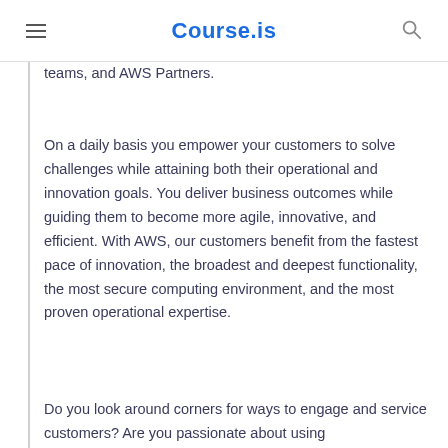Course.is
teams, and AWS Partners.
On a daily basis you empower your customers to solve challenges while attaining both their operational and innovation goals. You deliver business outcomes while guiding them to become more agile, innovative, and efficient. With AWS, our customers benefit from the fastest pace of innovation, the broadest and deepest functionality, the most secure computing environment, and the most proven operational expertise.
Do you look around corners for ways to engage and service customers? Are you passionate about using